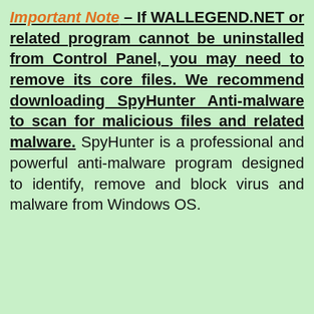Important Note – If WALLEGEND.NET or related program cannot be uninstalled from Control Panel, you may need to remove its core files. We recommend downloading SpyHunter Anti-malware to scan for malicious files and related malware. SpyHunter is a professional and powerful anti-malware program designed to identify, remove and block virus and malware from Windows OS.
Download SpyHunter Anti-Malware Now
We use cookies to ensure that we give you the best experience on our website. If you continue to use this site we will assume that you are happy with it.
Ok